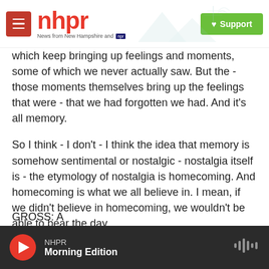[Figure (logo): NHPR logo with hamburger menu and Support button]
which keep bringing up feelings and moments, some of which we never actually saw. But the - those moments themselves bring up the feelings that were - that we had forgotten we had. And it's all memory.
So I think - I don't - I think the idea that memory is somehow sentimental or nostalgic - nostalgia itself is - the etymology of nostalgia is homecoming. And homecoming is what we all believe in. I mean, if we didn't believe in homecoming, we wouldn't be able to bear the day.
GROSS: A
NHPR Morning Edition